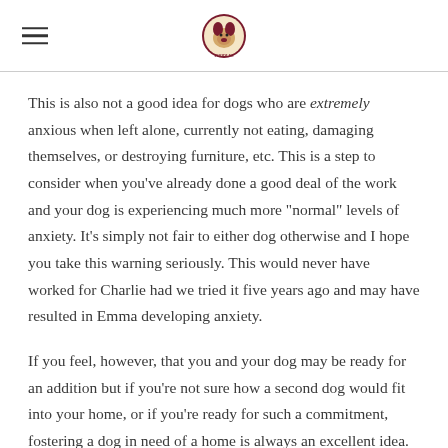[Logo: Poodles to the Rescue]
This is also not a good idea for dogs who are extremely anxious when left alone, currently not eating, damaging themselves, or destroying furniture, etc. This is a step to consider when you've already done a good deal of the work and your dog is experiencing much more "normal" levels of anxiety. It's simply not fair to either dog otherwise and I hope you take this warning seriously. This would never have worked for Charlie had we tried it five years ago and may have resulted in Emma developing anxiety.
If you feel, however, that you and your dog may be ready for an addition but if you're not sure how a second dog would fit into your home, or if you're ready for such a commitment, fostering a dog in need of a home is always an excellent idea. Contact your local shelter or rescue and see what type of programs they have. Some will even pay for all food expenses, and most pay for medical expenses. There are short term fostering options of just